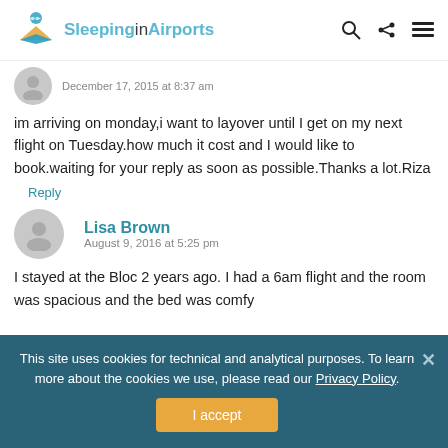Sleeping in Airports
December 17, 2015 at 8:37 am
im arriving on monday,i want to layover until I get on my next flight on Tuesday.how much it cost and I would like to book.waiting for your reply as soon as possible.Thanks a lot.Riza
Reply
Lisa Brown
August 9, 2016 at 5:25 pm
I stayed at the Bloc 2 years ago. I had a 6am flight and the room was spacious and the bed was comfy
This site uses cookies for technical and analytical purposes. To learn more about the cookies we use, please read our Privacy Policy.
I accept